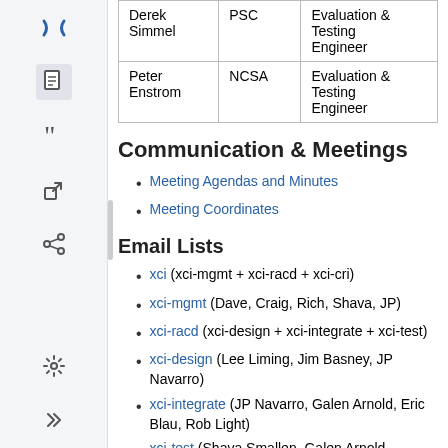| Name | Organization | Role |
| --- | --- | --- |
| Derek Simmel | PSC | Evaluation & Testing Engineer |
| Peter Enstrom | NCSA | Evaluation & Testing Engineer |
Communication & Meetings
Meeting Agendas and Minutes
Meeting Coordinates
Email Lists
xci (xci-mgmt + xci-racd + xci-cri)
xci-mgmt (Dave, Craig, Rich, Shava, JP)
xci-racd (xci-design + xci-integrate + xci-test)
xci-design (Lee Liming, Jim Basney, JP Navarro)
xci-integrate (JP Navarro, Galen Arnold, Eric Blau, Rob Light)
xci-test (Shava Smallen, Galen Arnold, Choonhan...